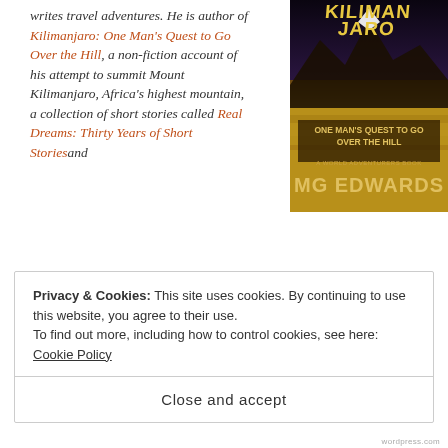writes travel adventures. He is author of Kilimanjaro: One Man's Quest to Go Over the Hill, a non-fiction account of his attempt to summit Mount Kilimanjaro, Africa's highest mountain, a collection of short stories called Real Dreams: Thirty Years of Short Stories and Alexander the Salamander, a children's story set in the Amazon. His books are available to purchase as an e-book and in print from Amazon.com and other booksellers. He lives in Bangkok, Thailand with his wife Jing and son Alex.
[Figure (photo): Book cover of Kilimanjaro: One Man's Quest to Go Over the Hill by MG Edwards]
For more books or stories by M.G. Edwards, visit his web
Privacy & Cookies: This site uses cookies. By continuing to use this website, you agree to their use.
To find out more, including how to control cookies, see here: Cookie Policy
Close and accept